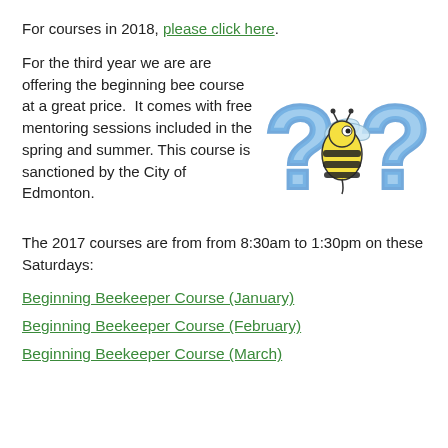For courses in 2018, please click here.
For the third year we are are offering the beginning bee course at a great price. It comes with free mentoring sessions included in the spring and summer. This course is sanctioned by the City of Edmonton.
[Figure (illustration): Cartoon bee between two blue question marks]
The 2017 courses are from from 8:30am to 1:30pm on these Saturdays:
Beginning Beekeeper Course (January)
Beginning Beekeeper Course (February)
Beginning Beekeeper Course (March)